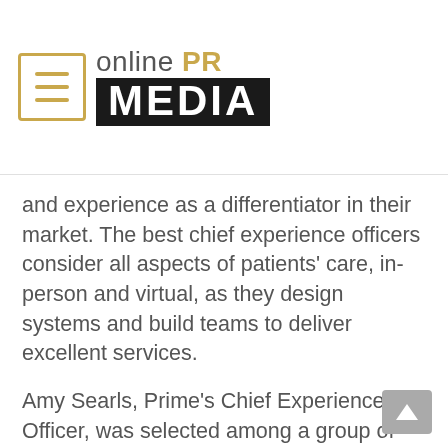online PR MEDIA
and experience as a differentiator in their market. The best chief experience officers consider all aspects of patients' care, in-person and virtual, as they design systems and build teams to deliver excellent services.
Amy Searls, Prime's Chief Experience Officer, was selected among a group of leaders nationwide for her dedication to strengthening healthcare through leadership in clinical excellence, operational strategy, patient-centered initiatives, and value-based care.
From Becker's Hospital Review, "Searls